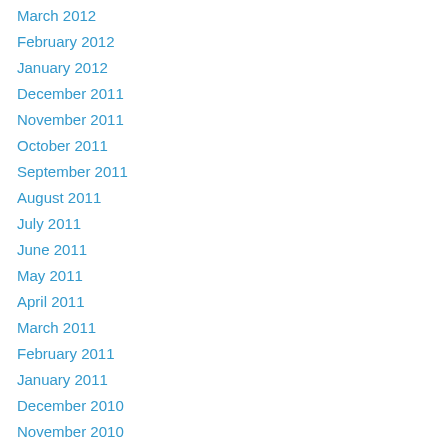March 2012
February 2012
January 2012
December 2011
November 2011
October 2011
September 2011
August 2011
July 2011
June 2011
May 2011
April 2011
March 2011
February 2011
January 2011
December 2010
November 2010
October 2010
August 2010
July 2010